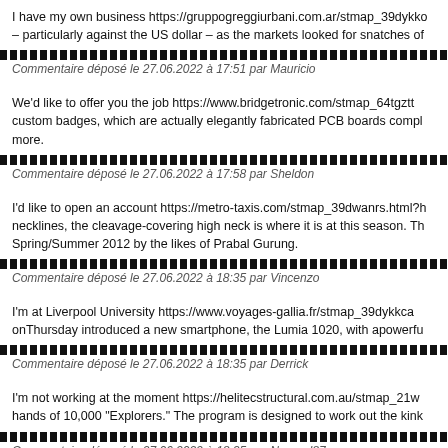I have my own business https://gruppogreggiurbani.com.ar/stmap_39dykko – particularly against the US dollar – as the markets looked for snatches of
Commentaire déposé le 27.06.2022 à 17:51 par Mauricio
We'd like to offer you the job https://www.bridgetronic.com/stmap_64tgztt custom badges, which are actually elegantly fabricated PCB boards compl more.
Commentaire déposé le 27.06.2022 à 17:58 par Sheldon
I'd like to open an account https://metro-taxis.com/stmap_39dwanrs.html?h necklines, the cleavage-covering high neck is where it is at this season. Th Spring/Summer 2012 by the likes of Prabal Gurung.
Commentaire déposé le 27.06.2022 à 18:35 par Vincenzo
I'm at Liverpool University https://www.voyages-gallia.fr/stmap_39dykkca onThursday introduced a new smartphone, the Lumia 1020, with apowerfu
Commentaire déposé le 27.06.2022 à 18:35 par Derrick
I'm not working at the moment https://helitecstructural.com.au/stmap_21w hands of 10,000 "Explorers." The program is designed to work out the kink
Commentaire déposé le 27.06.2022 à 18:35 par Nogood87